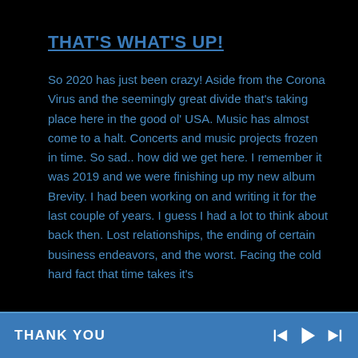THAT'S WHAT'S UP!
So 2020 has just been crazy! Aside from the Corona Virus and the seemingly great divide that's taking place here in the good ol' USA. Music has almost come to a halt. Concerts and music projects frozen in time. So sad.. how did we get here. I remember it was 2019 and we were finishing up my new album Brevity. I had been working on and writing it for the last couple of years. I guess I had a lot to think about back then. Lost relationships, the ending of certain business endeavors, and the worst. Facing the cold hard fact that time takes it's
THANK YOU